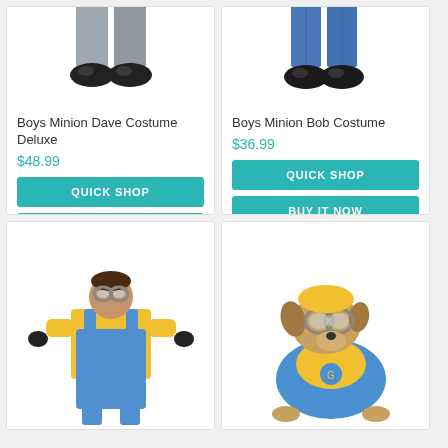[Figure (photo): Photo of Boys Minion Dave Costume Deluxe - lower body shown with grey pants and black shoes]
Boys Minion Dave Costume Deluxe
$48.99
[Figure (photo): Photo of Boys Minion Bob Costume - lower body shown with blue jeans and black shoes]
Boys Minion Bob Costume
$36.99
[Figure (photo): Photo of a girl wearing a Minion costume in yellow and blue overalls with goggles]
[Figure (photo): Photo of a dog wearing a Minion costume in yellow and blue with goggles]